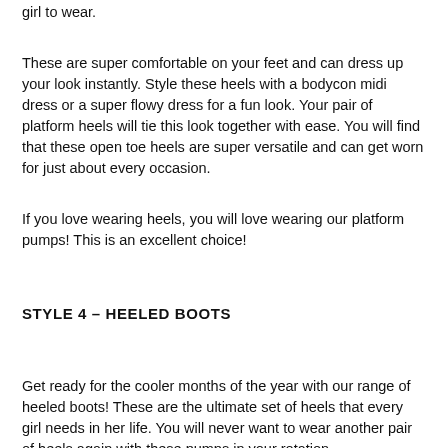girl to wear.
These are super comfortable on your feet and can dress up your look instantly. Style these heels with a bodycon midi dress or a super flowy dress for a fun look. Your pair of platform heels will tie this look together with ease. You will find that these open toe heels are super versatile and can get worn for just about every occasion.
If you love wearing heels, you will love wearing our platform pumps! This is an excellent choice!
STYLE 4 – HEELED BOOTS
Get ready for the cooler months of the year with our range of heeled boots! These are the ultimate set of heels that every girl needs in her life. You will never want to wear another pair of heels again with these pumps in your rotation.